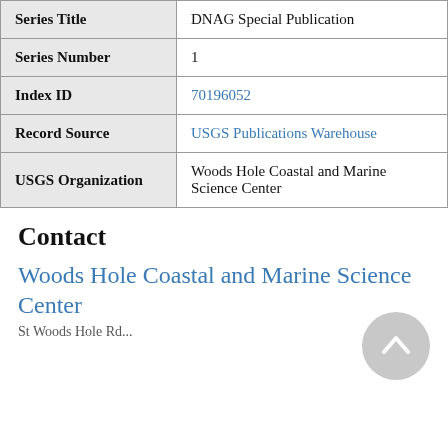| Field | Value |
| --- | --- |
| Series Title | DNAG Special Publication |
| Series Number | 1 |
| Index ID | 70196052 |
| Record Source | USGS Publications Warehouse |
| USGS Organization | Woods Hole Coastal and Marine Science Center |
Contact
Woods Hole Coastal and Marine Science Center
St Woods Hole Rd...